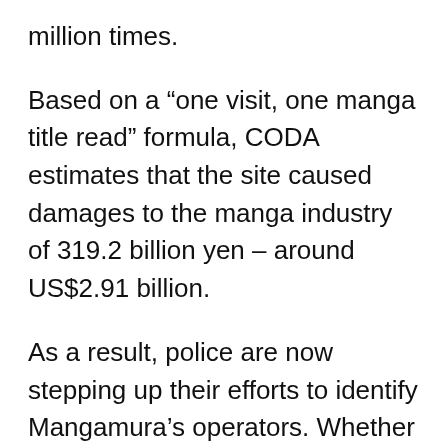million times.
Based on a “one visit, one manga title read” formula, CODA estimates that the site caused damages to the manga industry of 319.2 billion yen – around US$2.91 billion.
As a result, police are now stepping up their efforts to identify Mangamura’s operators. Whether that will prove fruitful will remain to be seen but in the meantime, Japan’s site-blocking efforts continue to cause controversy.
As reported last month, lawyer and NTT customer Yuichi Nakazawa launched legal action against NTT,